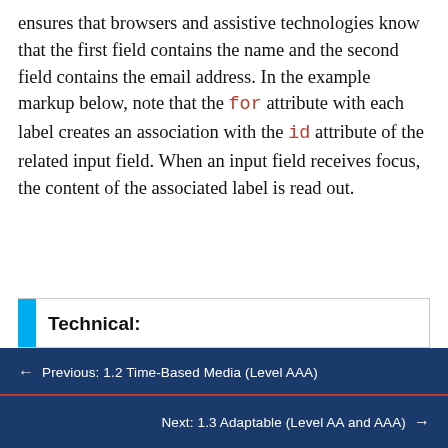ensures that browsers and assistive technologies know that the first field contains the name and the second field contains the email address. In the example markup below, note that the for attribute with each label creates an association with the id attribute of the related input field. When an input field receives focus, the content of the associated label is read out.
Technical:
<form>
<label for="firstname">Name...
← Previous: 1.2 Time-Based Media (Level AAA)
Next: 1.3 Adaptable (Level AA and AAA) →